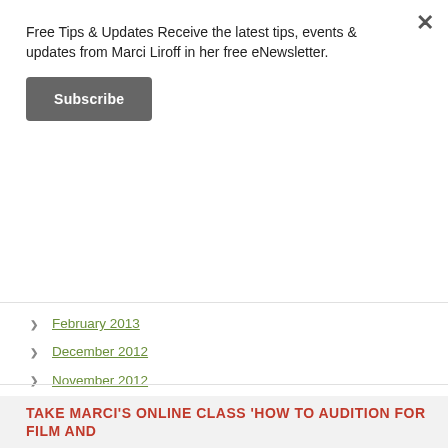Free Tips & Updates Receive the latest tips, events & updates from Marci Liroff in her free eNewsletter.
Subscribe
February 2013
December 2012
November 2012
October 2012
September 2012
August 2012
July 2012
June 2012
TAKE MARCI'S ONLINE CLASS 'HOW TO AUDITION FOR FILM AND